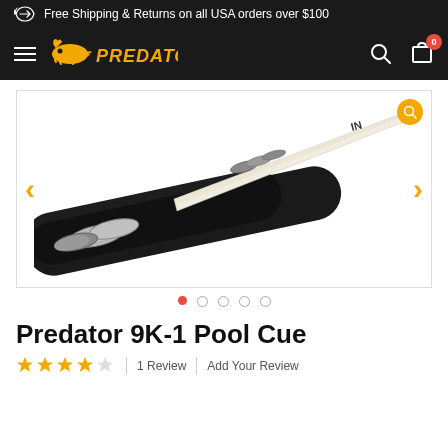Free Shipping & Returns on all USA orders over $100
[Figure (screenshot): Predator logo with panther on dark navigation bar with hamburger menu, search icon, and cart icon showing 0]
[Figure (photo): Black Predator 9K-1 pool cue displayed diagonally showing the shaft and butt with silver rings and leather wrap]
Predator 9K-1 Pool Cue
1 Review | Add Your Review